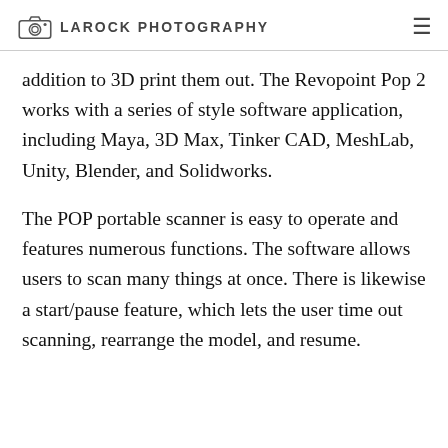LAROCK PHOTOGRAPHY
addition to 3D print them out. The Revopoint Pop 2 works with a series of style software application, including Maya, 3D Max, Tinker CAD, MeshLab, Unity, Blender, and Solidworks.
The POP portable scanner is easy to operate and features numerous functions. The software allows users to scan many things at once. There is likewise a start/pause feature, which lets the user time out scanning, rearrange the model, and resume.